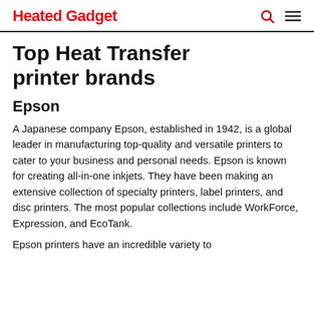Heated Gadget
Top Heat Transfer printer brands
Epson
A Japanese company Epson, established in 1942, is a global leader in manufacturing top-quality and versatile printers to cater to your business and personal needs. Epson is known for creating all-in-one inkjets. They have been making an extensive collection of specialty printers, label printers, and disc printers. The most popular collections include WorkForce, Expression, and EcoTank.
Epson printers have an incredible variety to…